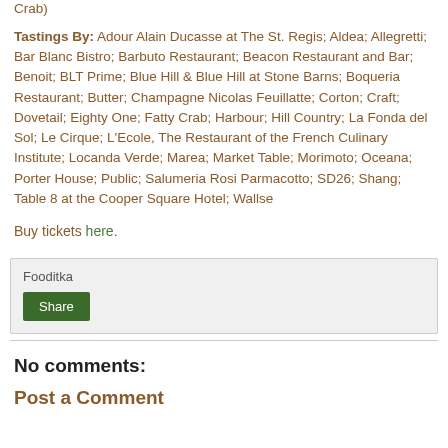Crab)
Tastings By: Adour Alain Ducasse at The St. Regis; Aldea; Allegretti; Bar Blanc Bistro; Barbuto Restaurant; Beacon Restaurant and Bar; Benoit; BLT Prime; Blue Hill & Blue Hill at Stone Barns; Boqueria Restaurant; Butter; Champagne Nicolas Feuillatte; Corton; Craft; Dovetail; Eighty One; Fatty Crab; Harbour; Hill Country; La Fonda del Sol; Le Cirque; L'Ecole, The Restaurant of the French Culinary Institute; Locanda Verde; Marea; Market Table; Morimoto; Oceana; Porter House; Public; Salumeria Rosi Parmacotto; SD26; Shang; Table 8 at the Cooper Square Hotel; Wallse
Buy tickets here.
Fooditka
Share
No comments:
Post a Comment